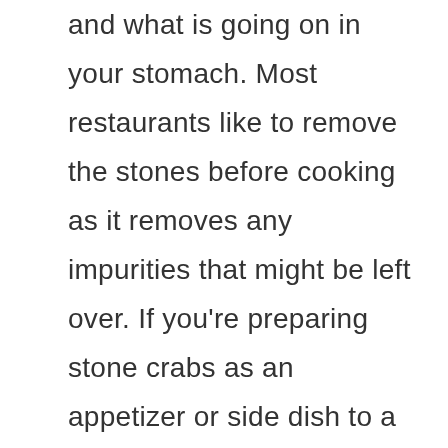and what is going on in your stomach. Most restaurants like to remove the stones before cooking as it removes any impurities that might be left over. If you're preparing stone crabs as an appetizer or side dish to a meal, it's best to purchase them from a restaurant since they have been cooked. Crab legs are a great side with any seafood dish, including boiled potatoes and corn on the cob! Stone crab claws are caught by divers and